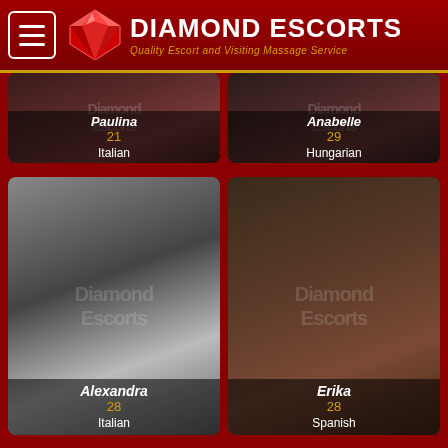Diamond Escorts — Quality Escort and Visiting Massage Service
[Figure (photo): Profile photo card for Paulina, age 21, Italian]
[Figure (photo): Profile photo card for Anabelle, age 29, Hungarian]
[Figure (photo): Profile photo card for Alexandra, age 28, Italian]
[Figure (photo): Profile photo card for Erika, age 28, Spanish]